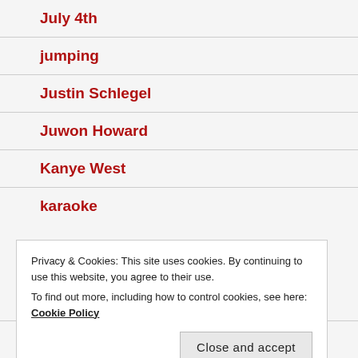July 4th
jumping
Justin Schlegel
Juwon Howard
Kanye West
karaoke
Privacy & Cookies: This site uses cookies. By continuing to use this website, you agree to their use.
To find out more, including how to control cookies, see here: Cookie Policy
Ken Jennings